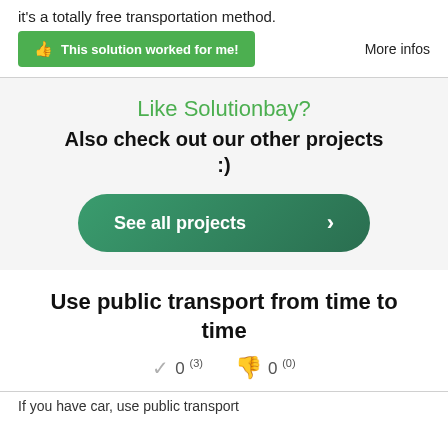it's a totally free transportation method.
[Figure (screenshot): Green 'This solution worked for me!' button with thumbs up icon, and 'More infos' text link on the right]
Like Solutionbay?
Also check out our other projects :)
[Figure (screenshot): Dark green rounded 'See all projects' button with right arrow]
Use public transport from time to time
0 (3)  0 (0) — vote counts with checkmark and thumbs down icons
If you have car, use public transport